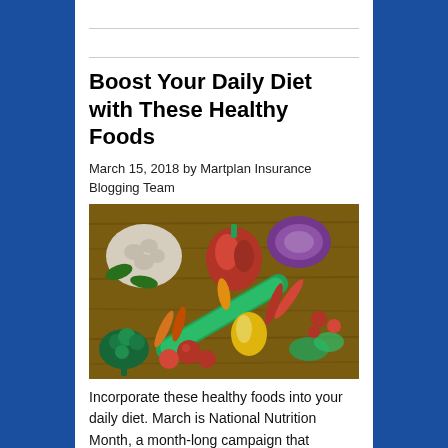Boost Your Daily Diet with These Healthy Foods
March 15, 2018 by Martplan Insurance Blogging Team
[Figure (photo): Colorful assorted fresh vegetables and peppers arranged on a wooden surface, including broccoli, tomatoes, red and green peppers, cauliflower, carrots, and other produce.]
Incorporate these healthy foods into your daily diet. March is National Nutrition Month, a month-long campaign that encourages Americans to improve their diets. In honor of